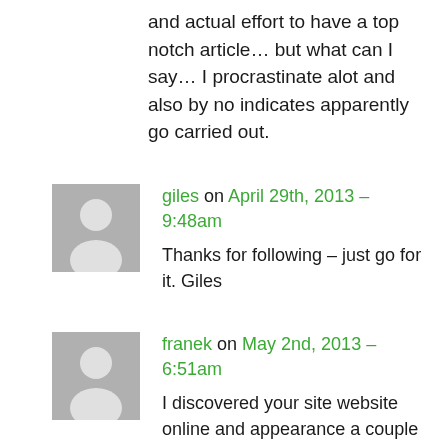and actual effort to have a top notch article… but what can I say… I procrastinate alot and also by no indicates apparently go carried out.
giles on April 29th, 2013 – 9:48am
Thanks for following – just go for it. Giles
franek on May 2nd, 2013 – 6:51am
I discovered your site website online and appearance a couple of your